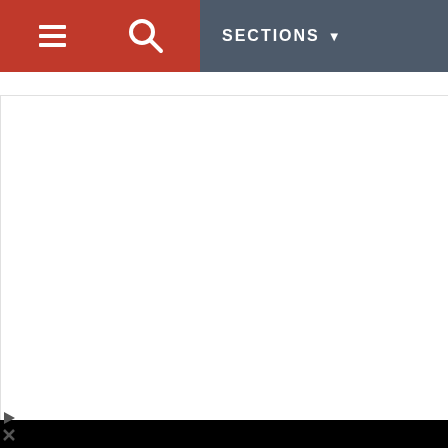SECTIONS
[Figure (screenshot): Website navigation bar with hamburger menu, search icon, and SECTIONS dropdown on a dark gray background with red icon area]
Type to search
This website uses cookies to ensure you get the best experience on our website. If you decide to continue browsing this website, you automatically agree to our Privacy Policy
Shop A Variety Of High Quality Photo Products At CVS® Today.